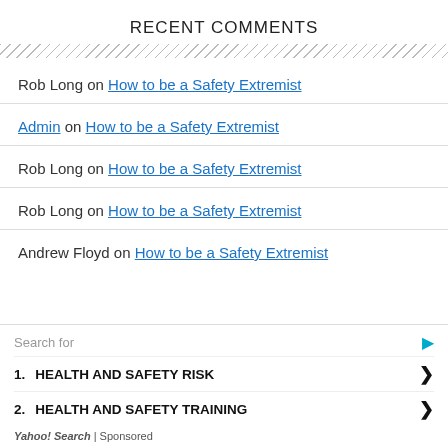RECENT COMMENTS
Rob Long on How to be a Safety Extremist
Admin on How to be a Safety Extremist
Rob Long on How to be a Safety Extremist
Rob Long on How to be a Safety Extremist
Andrew Floyd on How to be a Safety Extremist
Search for
1. HEALTH AND SAFETY RISK
2. HEALTH AND SAFETY TRAINING
Yahoo! Search | Sponsored